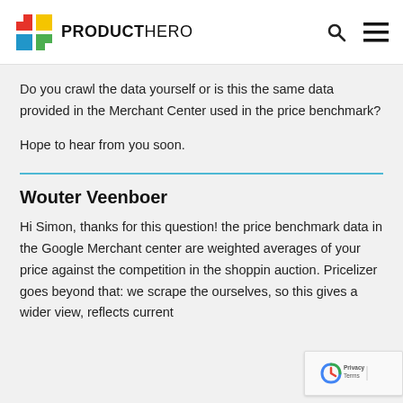PRODUCTHERO
Do you crawl the data yourself or is this the same data provided in the Merchant Center used in the price benchmark?

Hope to hear from you soon.
Wouter Veenboer
Hi Simon, thanks for this question! the price benchmark data in the Google Merchant center are weighted averages of your price against the competition in the shopping auction. Pricelizer goes beyond that: we scrape the ourselves, so this gives a wider view, reflects current